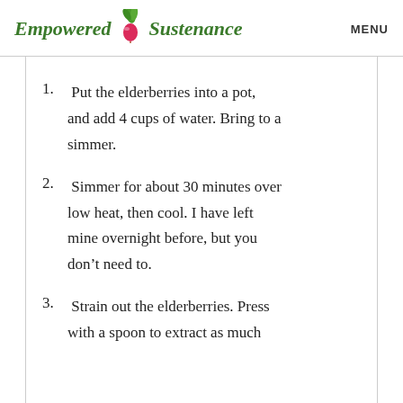Empowered Sustenance  MENU
1. Put the elderberries into a pot, and add 4 cups of water. Bring to a simmer.
2. Simmer for about 30 minutes over low heat, then cool. I have left mine overnight before, but you don’t need to.
3. Strain out the elderberries. Press with a spoon to extract as much